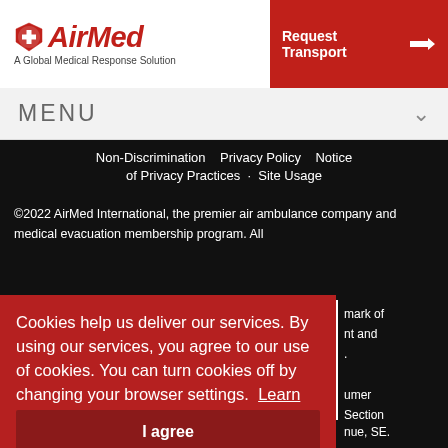[Figure (logo): AirMed logo with red shield cross icon and italic red/black text 'AirMed', tagline 'A Global Medical Response Solution']
Request Transport
MENU
Non-Discrimination · Privacy Policy · Notice of Privacy Practices · Site Usage
©2022 AirMed International, the premier air ambulance company and medical evacuation membership program. All
Cookies help us deliver our services. By using our services, you agree to our use of cookies. You can turn cookies off by changing your browser settings. Learn more
I agree
mark of nt and
umer Section on's
nue, SE.
202-366-2220 (TTY 202-336-0511) 1-866-TELL-FAA (1-866-835-